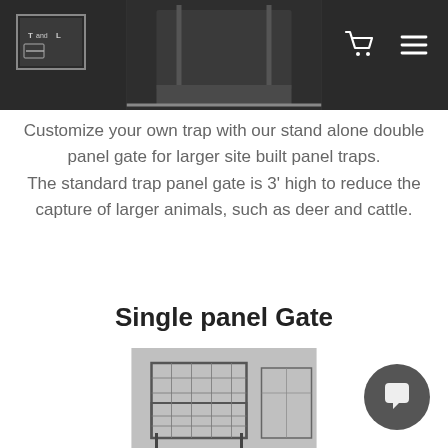Navigation bar with logo, product image, cart and menu icons
[Figure (photo): Top portion of a dark product/trap image shown in the center of the navigation bar area]
Customize your own trap with our stand alone double panel gate for larger site built panel traps. The standard trap panel gate is 3’ high to reduce the capture of larger animals, such as deer and cattle.
Single panel Gate
[Figure (photo): Black and white photo of a wire mesh animal trap/cage with metal frame, shown from the front, with another trap visible in the background]